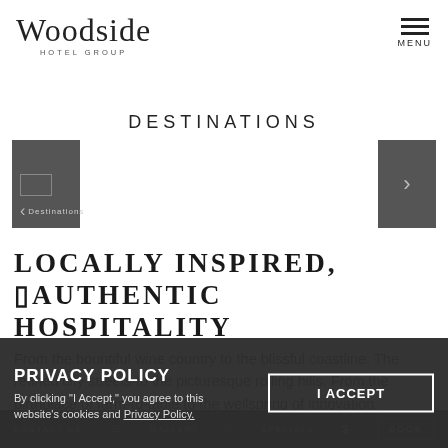Woodside HOTEL GROUP
DESTINATIONS
[Figure (screenshot): Navigation carousel with left arrow showing 'Destinations' label on dark grey background, and right arrow on dark grey background]
LOCALLY INSPIRED, AUTHENTIC HOSPITALITY
From the bountiful wine country to the blissful coastline. The refined city streets to the picturesque rolling hills. From the birthplace of farm-to-table to the wellspring of innovation. No matter where you roam, each of our hotels
PRIVACY POLICY
By clicking "I Accept," you agree to this website's cookies and Privacy Policy.
CONTACT US   GALLERY   SPECIALS   BOOK